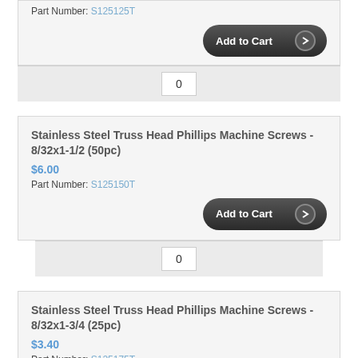Part Number: S125125T
0
Stainless Steel Truss Head Phillips Machine Screws - 8/32x1-1/2 (50pc)
$6.00
Part Number: S125150T
Add to Cart
0
Stainless Steel Truss Head Phillips Machine Screws - 8/32x1-3/4 (25pc)
$3.40
Part Number: S125175T
Add to Cart
0